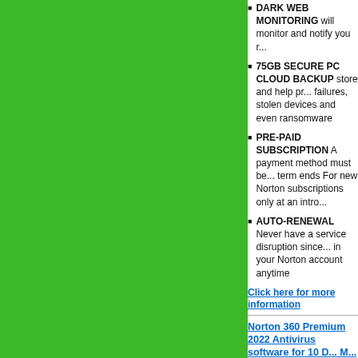DARK WEB MONITORING will monitor and notify you...
75GB SECURE PC CLOUD BACKUP store and help protect your files against failures, stolen devices and even ransomware
PRE-PAID SUBSCRIPTION A payment method must be... term ends For new Norton subscriptions only at an intro...
AUTO-RENEWAL Never have a service disruption since... in your Norton account anytime
Click here for more information
Norton 360 Premium 2022 Antivirus software for 10 D... M...
NortonLifeLock
Software Download
[Figure (photo): Norton 360 Premium product box/packaging image showing '10 DEVICES', Norton 360 Premium branding, dark blue box with gold circular design, '100% GUARANTEE' badge, and cloud download icon]
Description:
Norton 360 Premium 2022 Antivirus software for 10 Devices [Download]